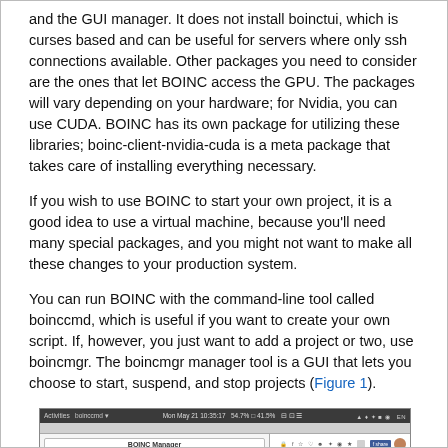and the GUI manager. It does not install boinctui, which is curses based and can be useful for servers where only ssh connections available. Other packages you need to consider are the ones that let BOINC access the GPU. The packages will vary depending on your hardware; for Nvidia, you can use CUDA. BOINC has its own package for utilizing these libraries; boinc-client-nvidia-cuda is a meta package that takes care of installing everything necessary.
If you wish to use BOINC to start your own project, it is a good idea to use a virtual machine, because you'll need many special packages, and you might not want to make all these changes to your production system.
You can run BOINC with the command-line tool called boinccmd, which is useful if you want to create your own script. If, however, you just want to add a project or two, use boincmgr. The boincmgr manager tool is a GUI that lets you choose to start, suspend, and stop projects (Figure 1).
[Figure (screenshot): Screenshot of BOINC Manager application showing a 'Choose a project' dialog on the left with categories and projects list, and a browser/editor window on the right with a share button and avatar. The desktop shows a Linux taskbar at the top.]